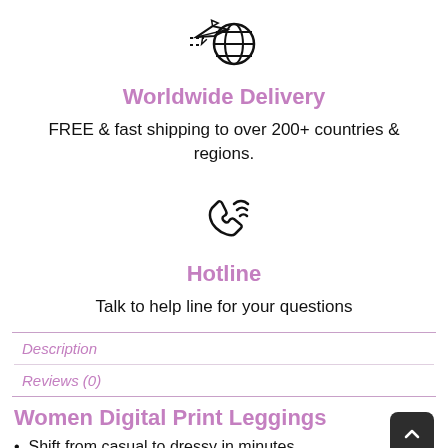[Figure (illustration): Icon of an airplane with a globe, representing worldwide delivery]
Worldwide Delivery
FREE & fast shipping to over 200+ countries & regions.
[Figure (illustration): Icon of a ringing telephone handset with signal waves, representing a hotline]
Hotline
Talk to help line for your questions
Description
Reviews (0)
Women Digital Print Leggings
Shift from casual to dressy in minutes.